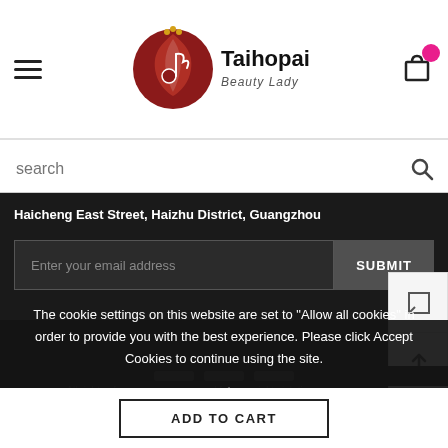[Figure (logo): Taihopai Beauty Lady logo with circular red/dark emblem and hamburger menu on left, cart icon with pink badge on right]
search
Haicheng East Street, Haizhu District, Guangzhou
Enter your email address
SUBMIT
The cookie settings on this website are set to "Allow all cookies" in order to provide you with the best experience. Please click Accept Cookies to continue using the site.
All rights of recourse are reserved for copyright violations.
ADD TO CART